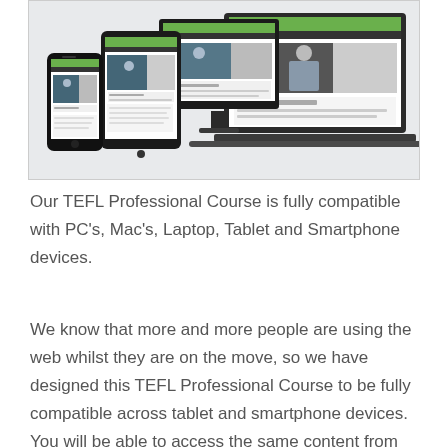[Figure (screenshot): Screenshot showing a TEFL course website displayed on multiple devices: a smartphone, a tablet, a desktop monitor, and a laptop, all showing a green-branded online course website.]
Our TEFL Professional Course is fully compatible with PC's, Mac's, Laptop, Tablet and Smartphone devices.
We know that more and more people are using the web whilst they are on the move, so we have designed this TEFL Professional Course to be fully compatible across tablet and smartphone devices. You will be able to access the same content from the course, just over a 3G or 4G network whilst on the move.